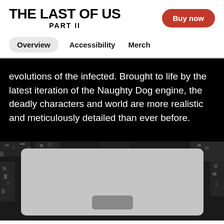THE LAST OF US PART II
Buy now
Overview
Accessibility
Merch
evolutions of the infected. Brought to life by the latest iteration of the Naughty Dog engine, the deadly characters and world are more realistic and meticulously detailed than ever before.
[Figure (photo): Black and white photo showing a game scene or promotional image from The Last of Us Part II, with a gray card element overlaid on a textured dark background.]